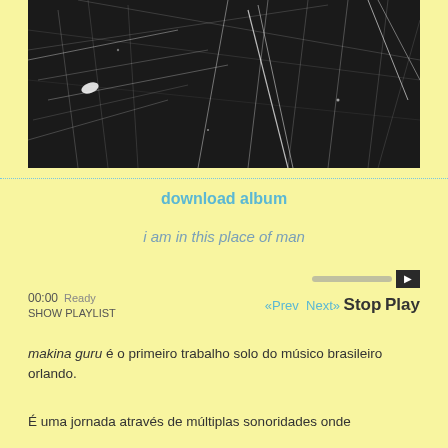[Figure (photo): Black and white photo showing scratched or textured dark surface with white linear marks and scratches, resembling a blackboard or dark metal surface.]
download album
i am in this place of man
00:00  Ready
«Prev  Next»  Stop  Play
SHOW PLAYLIST
makina guru é o primeiro trabalho solo do músico brasileiro orlando.
É uma jornada através de múltiplas sonoridades onde